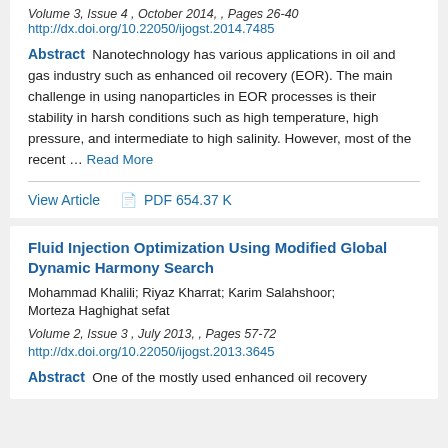Volume 3, Issue 4 , October 2014, , Pages 26-40
http://dx.doi.org/10.22050/ijogst.2014.7485
Abstract   Nanotechnology has various applications in oil and gas industry such as enhanced oil recovery (EOR). The main challenge in using nanoparticles in EOR processes is their stability in harsh conditions such as high temperature, high pressure, and intermediate to high salinity. However, most of the recent ... Read More
View Article   PDF 654.37 K
Fluid Injection Optimization Using Modified Global Dynamic Harmony Search
Mohammad Khalili; Riyaz Kharrat; Karim Salahshoor; Morteza Haghighat sefat
Volume 2, Issue 3 , July 2013, , Pages 57-72
http://dx.doi.org/10.22050/ijogst.2013.3645
Abstract   One of the mostly used enhanced oil recovery